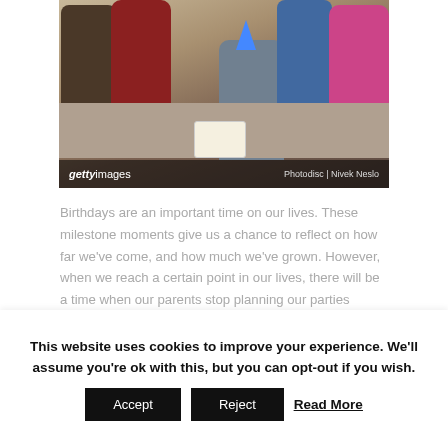[Figure (photo): A birthday party scene showing several women gathered around a seated woman wearing a party hat, with a birthday cake on the table in front of them. Getty Images watermark with credit 'Photodisc | Nivek Neslo' visible at bottom of photo.]
Birthdays are an important time on our lives. These milestone moments give us a chance to reflect on how far we've come, and how much we've grown. However, when we reach a certain point in our lives, there will be a time when our parents stop planning our parties
This website uses cookies to improve your experience. We'll assume you're ok with this, but you can opt-out if you wish. Accept Reject Read More